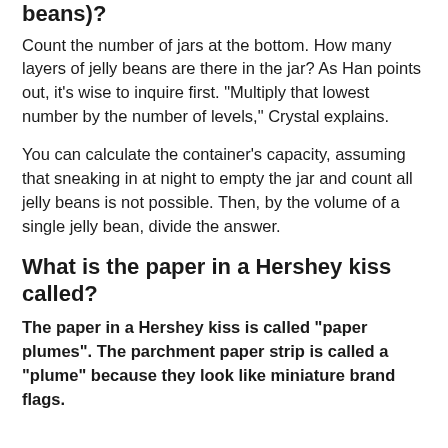beans)?
Count the number of jars at the bottom. How many layers of jelly beans are there in the jar? As Han points out, it’s wise to inquire first. “Multiply that lowest number by the number of levels,” Crystal explains.
You can calculate the container’s capacity, assuming that sneaking in at night to empty the jar and count all jelly beans is not possible. Then, by the volume of a single jelly bean, divide the answer.
What is the paper in a Hershey kiss called?
The paper in a Hershey kiss is called “paper plumes”. The parchment paper strip is called a “plume” because they look like miniature brand flags.